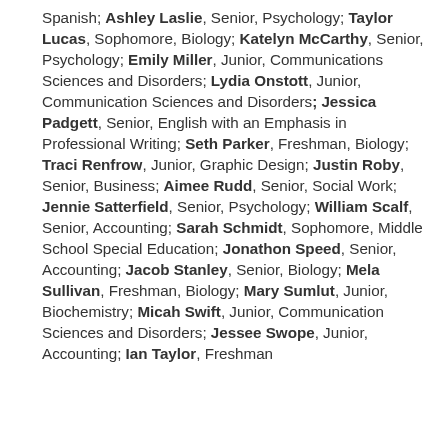Spanish; Ashley Laslie, Senior, Psychology; Taylor Lucas, Sophomore, Biology; Katelyn McCarthy, Senior, Psychology; Emily Miller, Junior, Communications Sciences and Disorders; Lydia Onstott, Junior, Communication Sciences and Disorders; Jessica Padgett, Senior, English with an Emphasis in Professional Writing; Seth Parker, Freshman, Biology; Traci Renfrow, Junior, Graphic Design; Justin Roby, Senior, Business; Aimee Rudd, Senior, Social Work; Jennie Satterfield, Senior, Psychology; William Scalf, Senior, Accounting; Sarah Schmidt, Sophomore, Middle School Special Education; Jonathon Speed, Senior, Accounting; Jacob Stanley, Senior, Biology; Mela Sullivan, Freshman, Biology; Mary Sumlut, Junior, Biochemistry; Micah Swift, Junior, Communication Sciences and Disorders; Jessee Swope, Junior, Accounting; Ian Taylor, Freshman